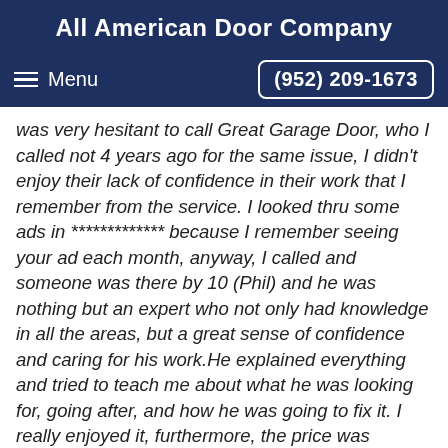All American Door Company
Menu   (952) 209-1673
was very hesitant to call Great Garage Door, who I called not 4 years ago for the same issue, I didn't enjoy their lack of confidence in their work that I remember from the service. I looked thru some ads in ************* because I remember seeing your ad each month, anyway, I called and someone was there by 10 (Phil) and he was nothing but an expert who not only had knowledge in all the areas, but a great sense of confidence and caring for his work.He explained everything and tried to teach me about what he was looking for, going after, and how he was going to fix it. I really enjoyed it, furthermore, the price was great,...actually a bargain for the great service I received. Phil also found the previous spring was wrong, and installed in correctly which explains the